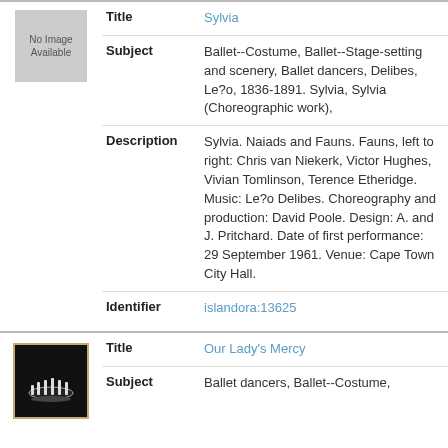[Figure (photo): Gray placeholder box labeled No Image Available]
| Title | Sylvia |
| Subject | Ballet--Costume, Ballet--Stage-setting and scenery, Ballet dancers, Delibes, Le?o, 1836-1891. Sylvia, Sylvia (Choreographic work), |
| Description | Sylvia. Naiads and Fauns. Fauns, left to right: Chris van Niekerk, Victor Hughes, Vivian Tomlinson, Terence Etheridge. Music: Le?o Delibes. Choreography and production: David Poole. Design: A. and J. Pritchard. Date of first performance: 29 September 1961. Venue: Cape Town City Hall. |
| Identifier | islandora:13625 |
[Figure (photo): Small thumbnail image of a dark stage scene with silhouetted figures, gold/tan border frame]
| Title | Our Lady's Mercy |
| Subject | Ballet dancers, Ballet--Costume, |